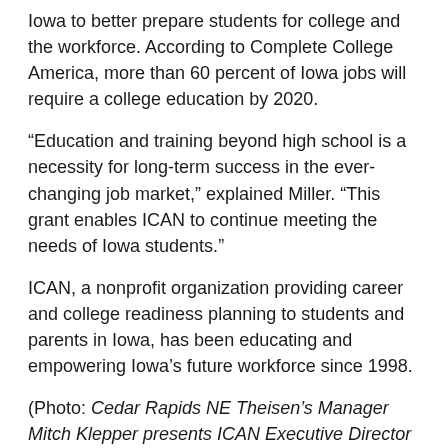Iowa to better prepare students for college and the workforce. According to Complete College America, more than 60 percent of Iowa jobs will require a college education by 2020.
“Education and training beyond high school is a necessity for long-term success in the ever-changing job market,” explained Miller. “This grant enables ICAN to continue meeting the needs of Iowa students.”
ICAN, a nonprofit organization providing career and college readiness planning to students and parents in Iowa, has been educating and empowering Iowa’s future workforce since 1998.
(Photo: Cedar Rapids NE Theisen’s Manager Mitch Klepper presents ICAN Executive Director Rob Miller and Director of Communications Brittania Morey with a grant award for college and career readiness programming in Linn County high schools.)